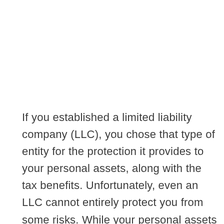If you established a limited liability company (LLC), you chose that type of entity for the protection it provides to your personal assets, along with the tax benefits. Unfortunately, even an LLC cannot entirely protect you from some risks. While your personal assets are generally protected, in certain situations, you have almost zero protection. For example, without business insurance, a slip and fall injury accident on your business property could result in a major liability